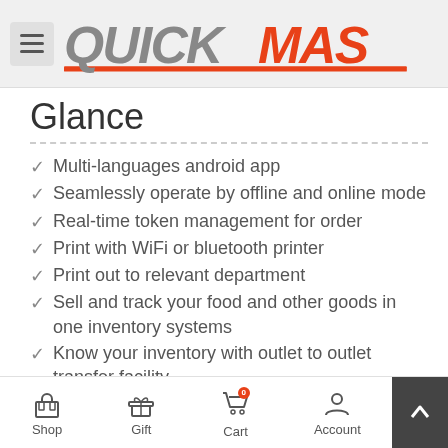QUICKMAS
Glance
Multi-languages android app
Seamlessly operate by offline and online mode
Real-time token management for order
Print with WiFi or bluetooth printer
Print out to relevant department
Sell and track your food and other goods in one inventory systems
Know your inventory with outlet to outlet transfer facility
Know your sales and sales person performance
Shop  Gift  Cart  Account